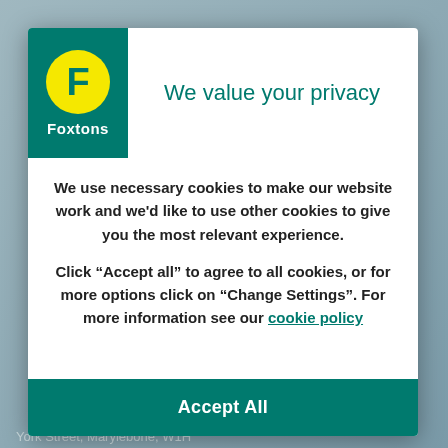[Figure (logo): Foxtons estate agent logo: green square background with yellow circle containing green F, and 'Foxtons' text in white below]
We value your privacy
We use necessary cookies to make our website work and we'd like to use other cookies to give you the most relevant experience.
Click “Accept all” to agree to all cookies, or for more options click on “Change Settings”. For more information see our cookie policy
York Street, Marylebone, W1H